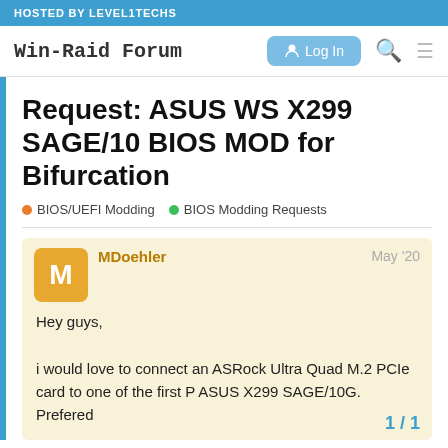HOSTED BY LEVEL1TECHS
Win-Raid Forum
Request: ASUS WS X299 SAGE/10 BIOS MOD for Bifurcation
BIOS/UEFI Modding  BIOS Modding Requests
MDoehler  May '20
Hey guys,

i would love to connect an ASRock Ultra Quad M.2 PCIe card to one of the first P ASUS X299 SAGE/10G. Prefered
1 / 1